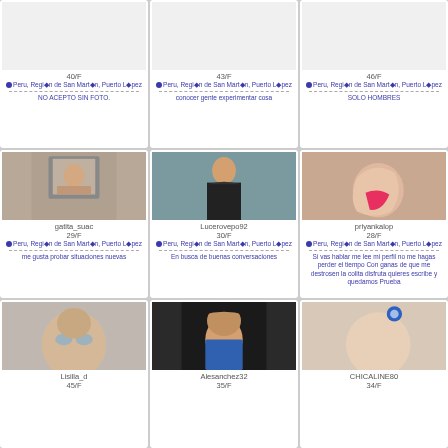[Figure (photo): Profile card no photo, 40/F, Peru Region de San Martin Puerto Lopez, NO ACEPTO SIN FOTO.]
[Figure (photo): Profile card no photo, 43/F, Peru Region de San Martin Puerto Lopez, conocer gente experimentar cosa]
[Figure (photo): Profile card no photo, 46/F, Peru Region de San Martin Puerto Lopez, SOLO HOMBRES]
[Figure (photo): Profile photo gatita_suac 29/F Peru Region de San Martin Puerto Lopez, me gusta probar situaciones nuevas]
[Figure (photo): Profile photo Lucerovepo92 30/F Peru Region de San Martin Puerto Lopez, En busca de buenas conversaciones]
[Figure (photo): Profile photo priyankalop 28/F Peru Region de San Martin Puerto Lopez, Si vas hablar me lee mi perfil no me hagas perder el tiempo Con ganas de que me destrosen la colita disfruta quieres escribe y quedamos Prueba]
[Figure (photo): Profile photo Lisilla_d 45/F]
[Figure (photo): Profile photo Alesanchez32 35/F]
[Figure (photo): Profile photo CHICALINE80 34/F]